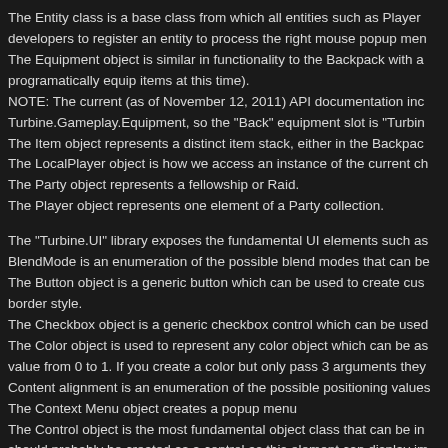The Entity class is a base class from which all entities such as Player... developers to register an entity to process the right mouse popup men... The Equipment object is similar in functionality to the Backpack with a... programatically equip items at this time). NOTE: The current (as of November 12, 2011) API documentation inc... Turbine.Gameplay.Equipment, so the "Back" equipment slot is "Turbin... The Item object represents a distinct item stack, either in the Backpac... The LocalPlayer object is how we access an instance of the current ch... The Party object represents a fellowship or Raid. The Player object represents one element of a Party collection.
The "Turbine.UI" library exposes the fundamental UI elements such as... BlendMode is an enumeration of the possible blend modes that can be... The Button object is a generic button which can be used to create cus... border style. The Checkbox object is a generic checkbox control which can be used... The Color object is used to represent any color object which can be as... value from 0 to 1. If you create a color but only pass 3 arguments they... Content alignment is an enumeration of the possible positioning values... The Context Menu object creates a popup menu The Control object is the most fundamental object class that can be in... should probably be created as a control as this element can display im... The ControlList object represents the child objects of a container contr... The Display object exposes the screen display properties and current... The DragDropInfo class is a virtual class, use the Turbine.UI.Lotro.Dra... FontStyle is an enumeration of font styles. Currently only Outlined and... The Label object is a control that allows displaying text. The ListBox object is a very useful container control that creates horiz... The MenuItem object represents an element of a Context Menu